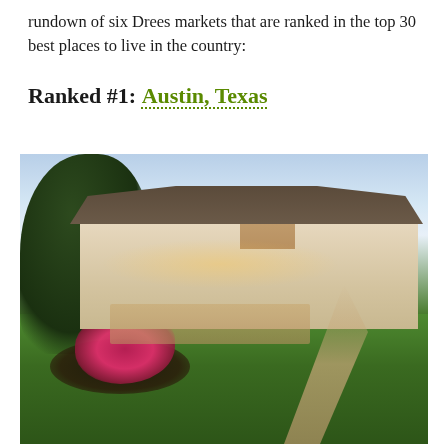rundown of six Drees markets that are ranked in the top 30 best places to live in the country:
Ranked #1: Austin, Texas
[Figure (photo): Exterior photograph of a large luxury Drees home in Austin, Texas. The single-story Mediterranean-style house features stone and stucco exterior, tile roof, arched entryway, and illuminated exterior lighting. Lush green lawn in foreground with a pink flower bed and mulch landscaping on the left, a stone pathway on the right leading to the front door. Large trees frame the scene with an evening sky in the background.]